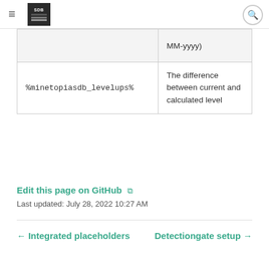SDB [logo] [hamburger menu] [search]
|  | MM-yyyy) |
| --- | --- |
| %minetopiasdb_levelups% | The difference between current and calculated level |
Edit this page on GitHub ↗
Last updated: July 28, 2022 10:27 AM
← Integrated placeholders    Detectiongate setup →